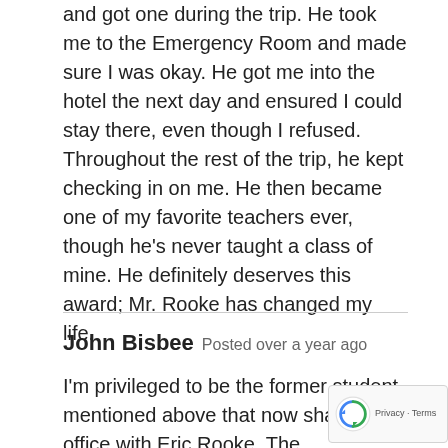and got one during the trip. He took me to the Emergency Room and made sure I was okay. He got me into the hotel the next day and ensured I could stay there, even though I refused. Throughout the rest of the trip, he kept checking in on me. He then became one of my favorite teachers ever, though he's never taught a class of mine. He definitely deserves this award; Mr. Rooke has changed my life.
John Bisbee Posted over a year ago
I'm privileged to be the former student mentioned above that now shares an office with Eric Rooke. The